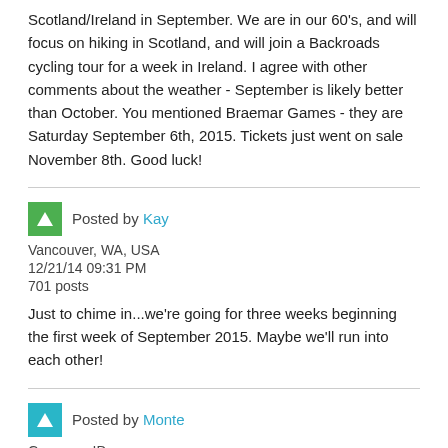Scotland/Ireland in September. We are in our 60's, and will focus on hiking in Scotland, and will join a Backroads cycling tour for a week in Ireland. I agree with other comments about the weather - September is likely better than October. You mentioned Braemar Games - they are Saturday September 6th, 2015. Tickets just went on sale November 8th. Good luck!
Posted by Kay
Vancouver, WA, USA
12/21/14 09:31 PM
701 posts
Just to chime in...we're going for three weeks beginning the first week of September 2015. Maybe we'll run into each other!
Posted by Monte
Genesee, ID